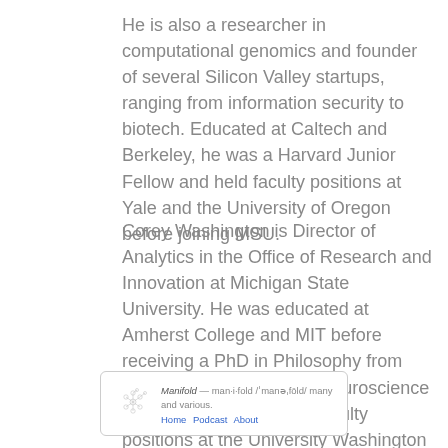He is also a researcher in computational genomics and founder of several Silicon Valley startups, ranging from information security to biotech. Educated at Caltech and Berkeley, he was a Harvard Junior Fellow and held faculty positions at Yale and the University of Oregon before joining MSU.
Corey Washington is Director of Analytics in the Office of Research and Innovation at Michigan State University. He was educated at Amherst College and MIT before receiving a PhD in Philosophy from Stanford and a PhD in a Neuroscience from Columbia. He held faculty positions at the University Washington and the University of Maryland. Prior to MSU, Corey worked as a biotech consultant and is founder of a medical diagnostics startup.
[Figure (other): Manifold website footer box with logo, tagline 'Manifold — man·i·fold /ˈmanəˌfōld/ many and various.' and navigation links: Home, Podcast, About]